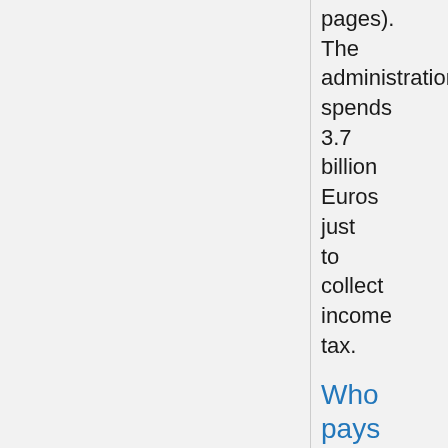pages). The administration spends 3.7 billion Euros just to collect income tax.
Who pays